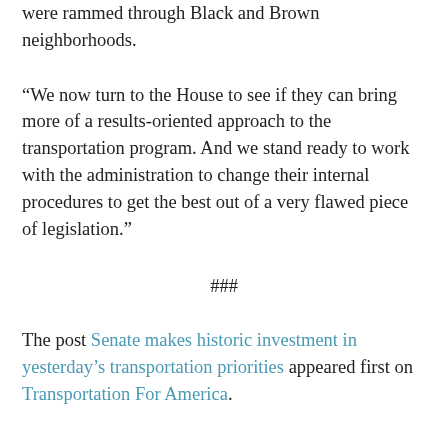were rammed through Black and Brown neighborhoods.
“We now turn to the House to see if they can bring more of a results-oriented approach to the transportation program. And we stand ready to work with the administration to change their internal procedures to get the best out of a very flawed piece of legislation.”
###
The post Senate makes historic investment in yesterday’s transportation priorities appeared first on Transportation For America.